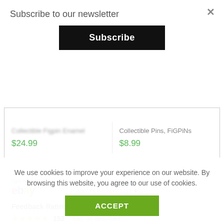Subscribe to our newsletter
Subscribe (button)
$24.99
Collectible Pins, FiGPiNs
$8.99
right now on ebay — threeifbyspace — 100.0% Positive (1213 ★)
Feedback Ratings
★★★★★  152  Item as described
★★★★★  152  Communication
We use cookies to improve your experience on our website. By browsing this website, you agree to our use of cookies.
ACCEPT (button)